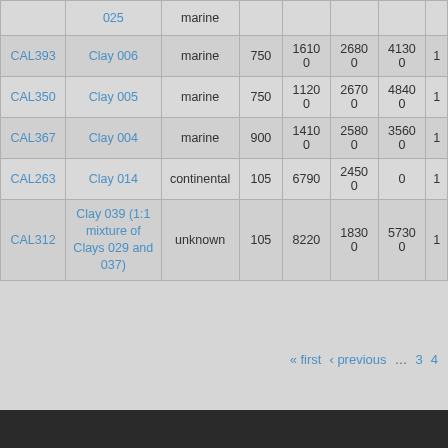| ID | Material | Environment | Col4 | Col5 | Col6 | Col7 | Col8 |
| --- | --- | --- | --- | --- | --- | --- | --- |
| CAL393 | Clay 006 | marine | 750 | 16100 | 26800 | 41300 | 1 |
| CAL350 | Clay 005 | marine | 750 | 11200 | 26700 | 48400 | 1 |
| CAL367 | Clay 004 | marine | 900 | 14100 | 25800 | 35600 | 1 |
| CAL263 | Clay 014 | continental | 105 | 6790 | 24500 | 0 | 1 |
| CAL312 | Clay 039 (1:1 mixture of Clays 029 and 037) | unknown | 105 | 8220 | 18300 | 57300 | 1 |
« first ‹ previous ... 3 4